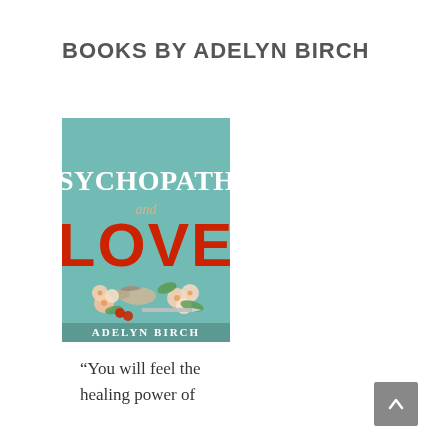BOOKS BY ADELYN BIRCH
[Figure (illustration): Book cover for 'Psychopaths and Love' by Adelyn Birch. Teal/mint background with large white serif text 'Psychopaths' at top, smaller italic tan 'and' in middle, large bold red 'LOVE' below, flowers and a bird illustration at bottom, author name 'ADELYN BIRCH' in white at bottom.]
“You will feel the healing power of